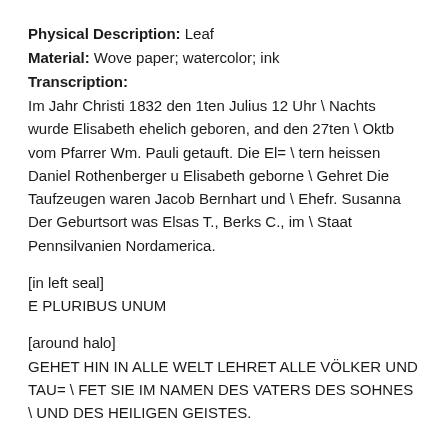Physical Description: Leaf
Material: Wove paper; watercolor; ink
Transcription:
Im Jahr Christi 1832 den 1ten Julius 12 Uhr \ Nachts wurde Elisabeth ehelich geboren, and den 27ten \ Oktb vom Pfarrer Wm. Pauli getauft. Die El= \ tern heissen Daniel Rothenberger u Elisabeth geborne \ Gehret Die Taufzeugen waren Jacob Bernhart und \ Ehefr. Susanna Der Geburtsort was Elsas T., Berks C., im \ Staat Pennsilvanien Nordamerica.
[in left seal]
E PLURIBUS UNUM
[around halo]
GEHET HIN IN ALLE WELT LEHRET ALLE VÖLKER UND TAU= \ FET SIE IM NAMEN DES VATERS DES SOHNES \ UND DES HEILIGEN GEISTES.